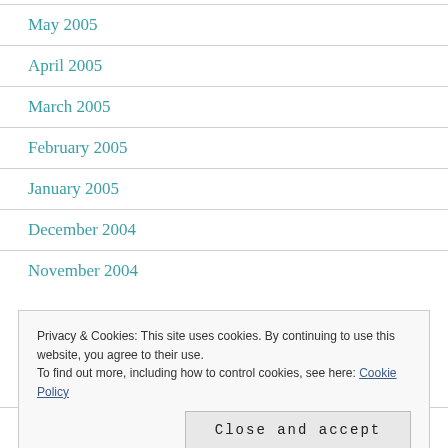May 2005
April 2005
March 2005
February 2005
January 2005
December 2004
November 2004
Privacy & Cookies: This site uses cookies. By continuing to use this website, you agree to their use. To find out more, including how to control cookies, see here: Cookie Policy
August 2004